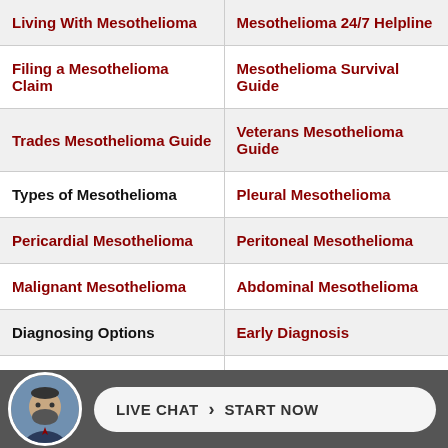Living With Mesothelioma | Mesothelioma 24/7 Helpline
Filing a Mesothelioma Claim | Mesothelioma Survival Guide
Trades Mesothelioma Guide | Veterans Mesothelioma Guide
Types of Mesothelioma | Pleural Mesothelioma
Pericardial Mesothelioma | Peritoneal Mesothelioma
Malignant Mesothelioma | Abdominal Mesothelioma
Diagnosing Options | Early Diagnosis
Biopsy Procedures | Blood Test
Fine Ne[...] | [...]ati[...]
[Figure (other): Live chat widget with consultant avatar and 'LIVE CHAT › START NOW' button]